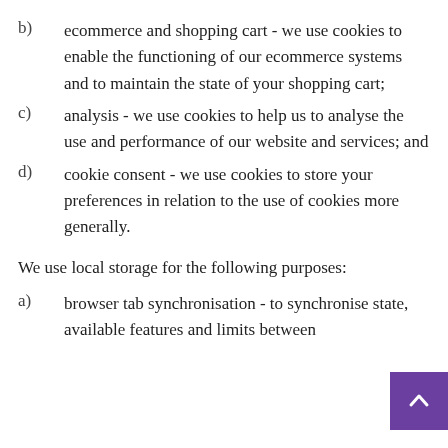b) ecommerce and shopping cart - we use cookies to enable the functioning of our ecommerce systems and to maintain the state of your shopping cart;
c) analysis - we use cookies to help us to analyse the use and performance of our website and services; and
d) cookie consent - we use cookies to store your preferences in relation to the use of cookies more generally.
We use local storage for the following purposes:
a) browser tab synchronisation - to synchronise state, available features and limits between